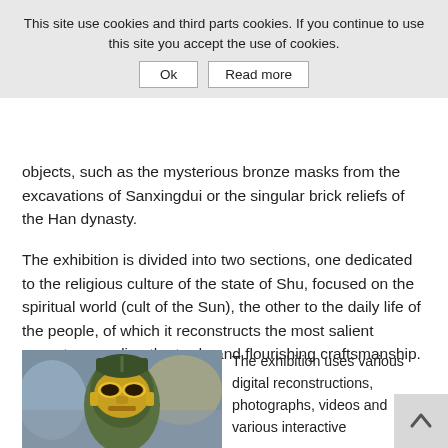This site use cookies and third parts cookies. If you continue to use this site you accept the use of cookies.
Ok | Read more
objects, such as the mysterious bronze masks from the excavations of Sanxingdui or the singular brick reliefs of the Han dynasty.
The exhibition is divided into two sections, one dedicated to the religious culture of the state of Shu, focused on the spiritual world (cult of the Sun), the other to the daily life of the people, of which it reconstructs the most salient aspects regarding the trade and flourishing craftsmanship.
[Figure (photo): Bronze and gold mask artifact from Sanxingdui excavations, showing a stylized human face with gold-layered features against a blurred museum background.]
The exhibition uses various digital reconstructions, photographs, videos and various interactive